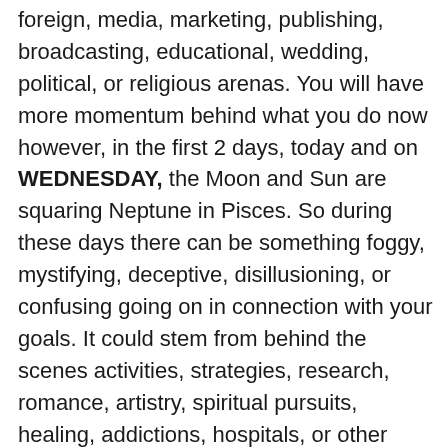foreign, media, marketing, publishing, broadcasting, educational, wedding, political, or religious arenas. You will have more momentum behind what you do now however, in the first 2 days, today and on WEDNESDAY, the Moon and Sun are squaring Neptune in Pisces. So during these days there can be something foggy, mystifying, deceptive, disillusioning, or confusing going on in connection with your goals. It could stem from behind the scenes activities, strategies, research, romance, artistry, spiritual pursuits, healing, addictions, hospitals, or other institutions. This square over these 2 days could also mean you are just pushing yourself in some subconscious way as these themes tie in. So slow and steady until you figure out what is what.
THURSDAY Capricorn Moon kicks in and makes some sense of Neptune so you should feel a bit better about goals, career needs or how your